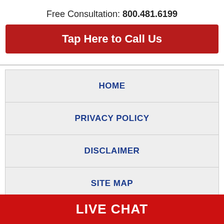Free Consultation: 800.481.6199
Tap Here to Call Us
HOME
PRIVACY POLICY
DISCLAIMER
SITE MAP
CONTACT US - WE ARE AVAILABLE 24/7
LIVE CHAT